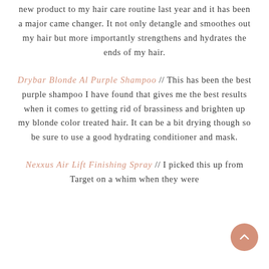new product to my hair care routine last year and it has been a major came changer. It not only detangle and smoothes out my hair but more importantly strengthens and hydrates the ends of my hair.
Drybar Blonde Al Purple Shampoo // This has been the best purple shampoo I have found that gives me the best results when it comes to getting rid of brassiness and brighten up my blonde color treated hair. It can be a bit drying though so be sure to use a good hydrating conditioner and mask.
Nexxus Air Lift Finishing Spray // I picked this up from Target on a whim when they were